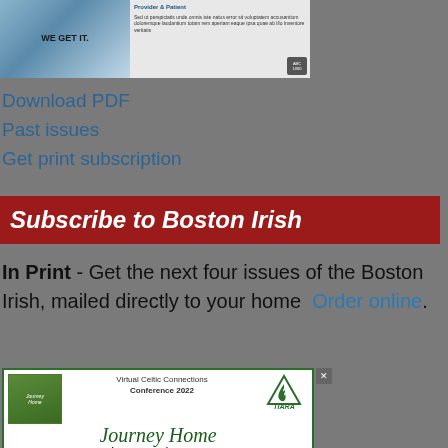[Figure (photo): Advertisement banner showing text 'WE GET IT.' on blue background with additional ad copy and badge logos on the right]
Download PDF
Past issues
Get print subscription
Subscribe to Boston Irish
In Print - Get the next four issues of the Boston Irish, mailed directly to your home  Order online.
[Figure (illustration): TIARA Virtual Celtic Connections Conference 2022 advertisement. Journey Home, July 9 – September 30, 2022. Bullet points: 22 Presenters, 53 On demand pre-recorded sessions, 15 LIVE chats with presenters.]